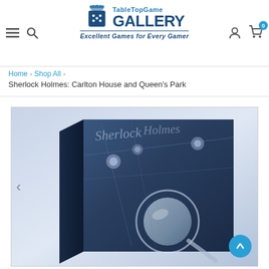[Figure (logo): TableTopGame Gallery logo with dice icon and tagline 'Excellent Games for Every Gamer']
Home › Shop All › Sherlock Holmes: Carlton House and Queen's Park
[Figure (photo): Product image of Sherlock Holmes: Carlton House and Queen's Park board game box, shown at an angle with a blue dark artistic cover featuring magnifying glass and detective objects]